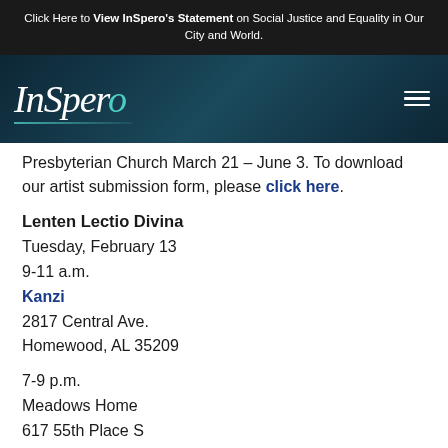Click Here to View InSpero's Statement on Social Justice and Equality in Our City and World.
[Figure (logo): InSpero logo in white italic handwritten-style font with teal 'o', on dark teal gradient background. Hamburger menu icon top right.]
Presbyterian Church March 21 – June 3. To download our artist submission form, please click here.
Lenten Lectio Divina
Tuesday, February 13
9-11 a.m.
Kanzi
2817 Central Ave.
Homewood, AL 35209
7-9 p.m.
Meadows Home
617 55th Place S
Birmingham, AL 35212